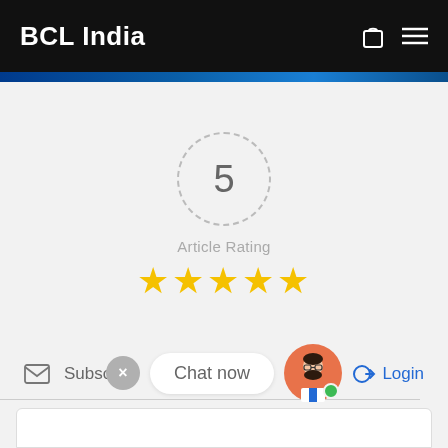BCL India
[Figure (infographic): Article rating widget showing number 5 in a dashed circle, 'Article Rating' label, and 5 gold stars]
Subscribe
Login
[Figure (screenshot): Chat widget with X close button, 'Chat now' bubble, and avatar with green online dot]